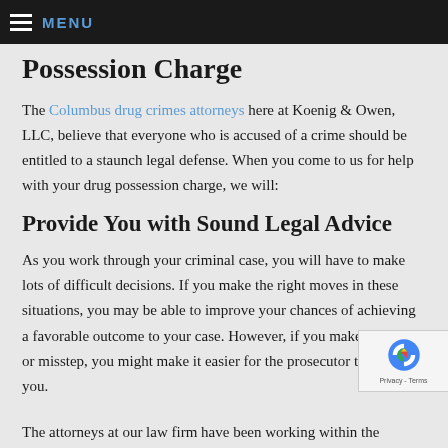MENU
Possession Charge
The Columbus drug crimes attorneys here at Koenig & Owen, LLC, believe that everyone who is accused of a crime should be entitled to a staunch legal defense. When you come to us for help with your drug possession charge, we will:
Provide You with Sound Legal Advice
As you work through your criminal case, you will have to make lots of difficult decisions. If you make the right moves in these situations, you may be able to improve your chances of achieving a favorable outcome to your case. However, if you make an error or misstep, you might make it easier for the prosecutor to convict you.
The attorneys at our law firm have been working within the